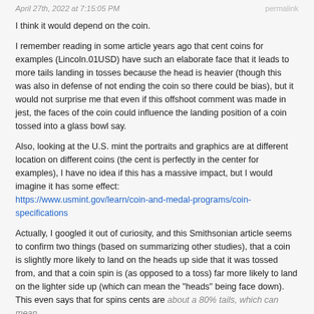April 27th, 2022 at 7:15:05 PM   permalink
I think it would depend on the coin.
I remember reading in some article years ago that cent coins for examples (Lincoln.01USD) have such an elaborate face that it leads to more tails landing in tosses because the head is heavier (though this was also in defense of not ending the coin so there could be bias), but it would not surprise me that even if this offshoot comment was made in jest, the faces of the coin could influence the landing position of a coin tossed into a glass bowl say.
Also, looking at the U.S. mint the portraits and graphics are at different location on different coins (the cent is perfectly in the center for examples), I have no idea if this has a massive impact, but I would imagine it has some effect:
https://www.usmint.gov/learn/coin-and-medal-programs/coin-specifications
Actually, I googled it out of curiosity, and this Smithsonian article seems to confirm two things (based on summarizing other studies), that a coin is slightly more likely to land on the heads up side that it was tossed from, and that a coin spin is (as opposed to a toss) far more likely to land on the lighter side up (which can mean the "heads" being face down). This even says that for spins cents are about a 80% tails, which can mean...